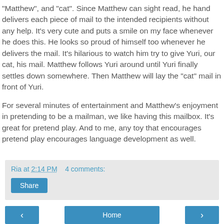"Matthew", and "cat". Since Matthew can sight read, he hand delivers each piece of mail to the intended recipients without any help. It's very cute and puts a smile on my face whenever he does this. He looks so proud of himself too whenever he delivers the mail. It's hilarious to watch him try to give Yuri, our cat, his mail. Matthew follows Yuri around until Yuri finally settles down somewhere. Then Matthew will lay the "cat" mail in front of Yuri.
For several minutes of entertainment and Matthew's enjoyment in pretending to be a mailman, we like having this mailbox. It's great for pretend play. And to me, any toy that encourages pretend play encourages language development as well.
Ria at 2:14 PM   4 comments:
Share
‹   Home   ›